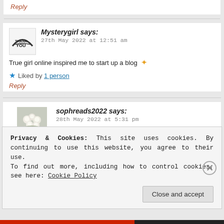Reply
Mysterygirl says: 27th May 2022 at 12:51 am
True girl online inspired me to start up a blog ✦
★ Liked by 1 person
Reply
sophreads2022 says: 28th May 2022 at 5:31 pm
Privacy & Cookies: This site uses cookies. By continuing to use this website, you agree to their use.
To find out more, including how to control cookies, see here: Cookie Policy
Close and accept